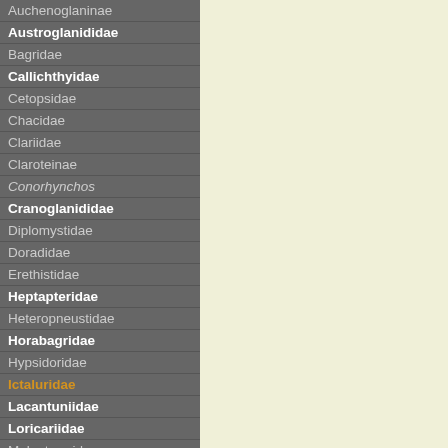Auchenoglaninae
Austroglanididae
Bagridae
Callichthyidae
Cetopsidae
Chacidae
Clariidae
Claroteinae
Conorhynchos
Cranoglanididae
Diplomystidae
Doradidae
Erethistidae
Heptapteridae
Heteropneustidae
Horabagridae
Hypsidoridae
Ictaluridae
Lacantuniidae
Loricariidae
Malapteruridae